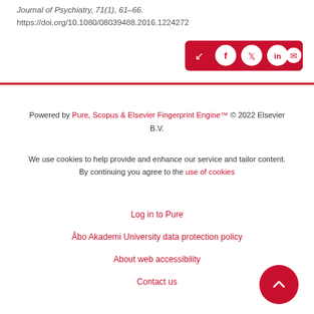Journal of Psychiatry, 71(1), 61–66. https://doi.org/10.1080/08039488.2016.1224272
[Figure (other): Social share button bar with icons for share, Facebook, Twitter, LinkedIn, and email on a red background]
Powered by Pure, Scopus & Elsevier Fingerprint Engine™ © 2022 Elsevier B.V.
We use cookies to help provide and enhance our service and tailor content. By continuing you agree to the use of cookies
Log in to Pure
Åbo Akademi University data protection policy
About web accessibility
Contact us